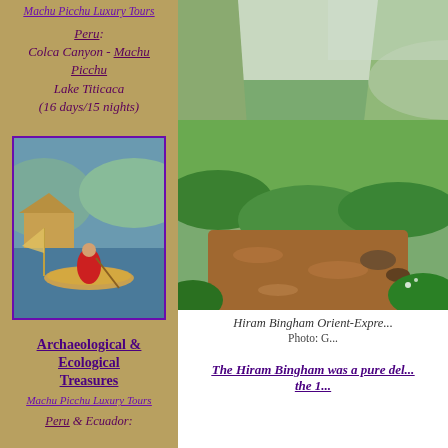Machu Picchu Luxury Tours
Peru: Colca Canyon - Machu Picchu Lake Titicaca (16 days/15 nights)
[Figure (photo): Person in traditional red clothing paddling a reed boat on Lake Titicaca with thatched structure in background]
Archaeological & Ecological Treasures
Machu Picchu Luxury Tours
Peru & Ecuador:
[Figure (photo): River flowing through lush green Andean jungle valley with steep mountain slopes and misty peaks]
Hiram Bingham Orient-Expre... Photo: G...
The Hiram Bingham was a pure del... the 1...